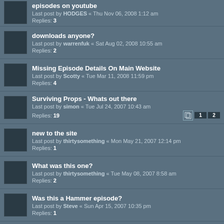episodes on youtube
Last post by HODGES « Thu Nov 06, 2008 1:12 am
Replies: 3
downloads anyone?
Last post by warrenfuk « Sat Aug 02, 2008 10:55 am
Replies: 2
Missing Episode Details On Main Website
Last post by Scotty « Tue Mar 11, 2008 11:59 pm
Replies: 4
Surviving Props - Whats out there
Last post by simon « Tue Jul 24, 2007 10:43 am
Replies: 19
new to the site
Last post by thirtysomething « Mon May 21, 2007 12:14 pm
Replies: 1
What was this one?
Last post by thirtysomething « Tue May 08, 2007 8:58 am
Replies: 2
Was this a Hammer episode?
Last post by Steve « Sun Apr 15, 2007 10:35 pm
Replies: 1
Can anyone help me with this ?
Last post by thirtysomething « Wed Nov 01, 2006 10:45 am
Replies: 3